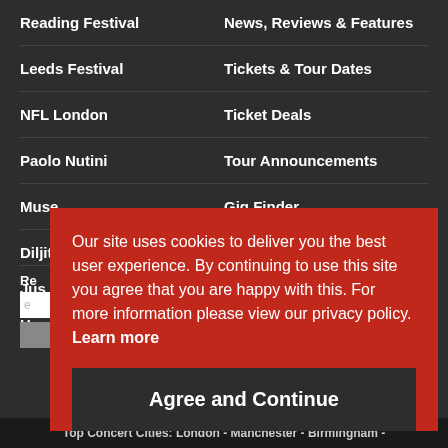Reading Festival | News, Reviews & Features
Leeds Festival | Tickets & Tour Dates
NFL London | Ticket Deals
Paolo Nutini | Tour Announcements
Muse | Gig Finder
Diljit Dosanjh | T-Shirts & Posters
Jus... | (partially hidden)
Ho... | (partially hidden)
Our site uses cookies to deliver you the best user experience. By continuing to use this site you agree that you are happy with this. For more information please view our privacy policy.  Learn more
Agree and Continue
Top Concert Cities: London - Manchester - Birmingham -